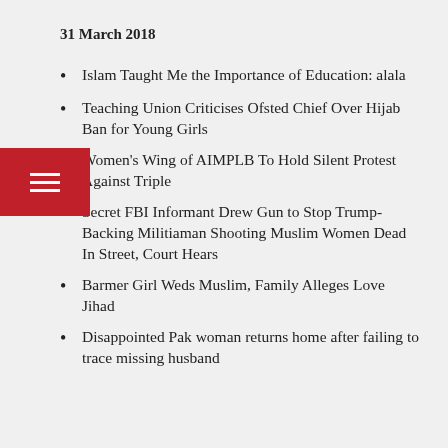31 March 2018
Islam Taught Me the Importance of Education: alala
Teaching Union Criticises Ofsted Chief Over Hijab Ban for Young Girls
Women's Wing of AIMPLB To Hold Silent Protest Against Triple
Secret FBI Informant Drew Gun to Stop Trump-Backing Militiaman Shooting Muslim Women Dead In Street, Court Hears
Barmer Girl Weds Muslim, Family Alleges Love Jihad
Disappointed Pak woman returns home after failing to trace missing husband